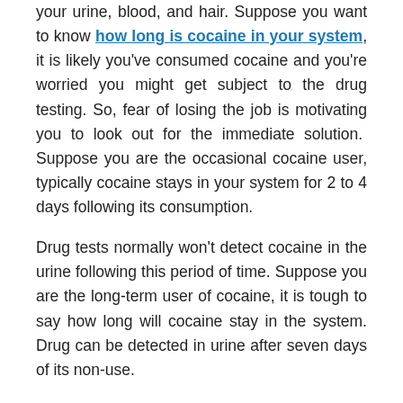your urine, blood, and hair. Suppose you want to know how long is cocaine in your system, it is likely you've consumed cocaine and you're worried you might get subject to the drug testing. So, fear of losing the job is motivating you to look out for the immediate solution. Suppose you are the occasional cocaine user, typically cocaine stays in your system for 2 to 4 days following its consumption.

Drug tests normally won't detect cocaine in the urine following this period of time. Suppose you are the long-term user of cocaine, it is tough to say how long will cocaine stay in the system. Drug can be detected in urine after seven days of its non-use.

An amount of the time cocaine stays in your body is influenced at how you consume this drug. The cocaine